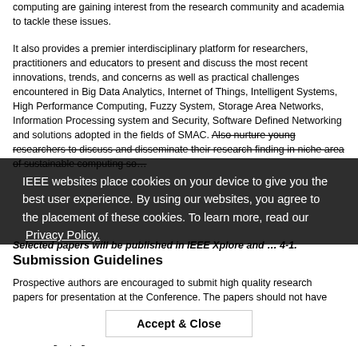computing are gaining interest from the research community and academia to tackle these issues.
It also provides a premier interdisciplinary platform for researchers, practitioners and educators to present and discuss the most recent innovations, trends, and concerns as well as practical challenges encountered in Big Data Analytics, Internet of Things, Intelligent Systems, High Performance Computing, Fuzzy System, Storage Area Networks, Information Processing system and Security, Software Defined Networking and solutions adopted in the fields of SMAC. Also nurture young researchers to discuss and disseminate their research finding in niche area of sustainable computing so...
Selected papers will be published in IEEE Xplore and...
Submission Guidelines
Prospective authors are encouraged to submit high quality research papers for presentation at the Conference. The papers should not have been published or submitted elsewhere and should be original research work. Authors are requested to submit their manuscripts in PDF format not exceeding 6 pages in A4 size